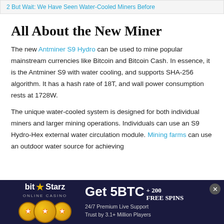2 But Wait: We Have Seen Water-Cooled Miners Before
All About the New Miner
The new Antminer S9 Hydro can be used to mine popular mainstream currencies like Bitcoin and Bitcoin Cash. In essence, it is the Antminer S9 with water cooling, and supports SHA-256 algorithm. It has a hash rate of 18T, and wall power consumption rests at 1728W.
The unique water-cooled system is designed for both individual miners and larger mining operations. Individuals can use an S9 Hydro-Hex external water circulation module. Mining farms can use an outdoor water source for achieving
[Figure (infographic): BitStarz Online Casino advertisement banner. Dark navy background. Shows BitStarz logo with star, coin graphics, and offer: Get 5BTC + 200 FREE SPINS. 24/7 Premium Live Support. Trust by 3.1+ Million Players.]